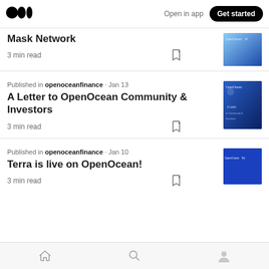Medium logo | Open in app | Get started
Mask Network
3 min read
Published in openoceanfinance · Jan 13
A Letter to OpenOcean Community & Investors
3 min read
Published in openoceanfinance · Jan 10
Terra is live on OpenOcean!
3 min read
Home | Search | Profile